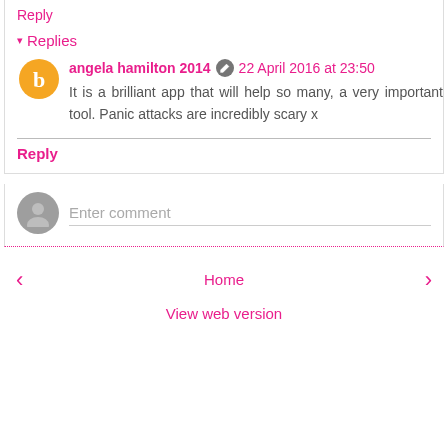Reply
▾ Replies
angela hamilton 2014  22 April 2016 at 23:50
It is a brilliant app that will help so many, a very important tool. Panic attacks are incredibly scary x
Reply
Enter comment
‹  Home  ›
View web version